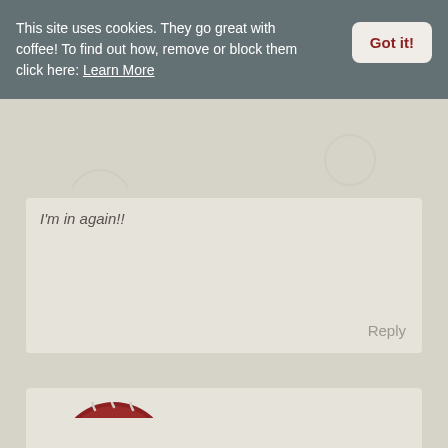This site uses cookies. They go great with coffee! To find out how, remove or block them click here: Learn More
Got it!
I'm in again!!
Reply
[Figure (illustration): Illustration of a dark red coffee cup with steam and 'Caffeinated' written on it, sitting on a saucer]
Kimberly
December 16th, 2021
Welcome back!!
Reply